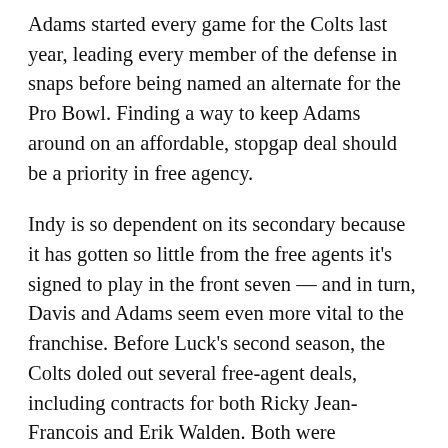Adams started every game for the Colts last year, leading every member of the defense in snaps before being named an alternate for the Pro Bowl. Finding a way to keep Adams around on an affordable, stopgap deal should be a priority in free agency.
Indy is so dependent on its secondary because it has gotten so little from the free agents it's signed to play in the front seven — and in turn, Davis and Adams seem even more vital to the franchise. Before Luck's second season, the Colts doled out several free-agent deals, including contracts for both Ricky Jean-Francois and Erik Walden. Both were scrutinized at the time. Two years later, that criticism is justified. Yesterday, the Colts cut Jean-Francois and saved more than $4 million as a result. That move comes about two weeks after Indy parted ways with safety LaRon Landry, which saved about $2.25 million. Those moves (and even